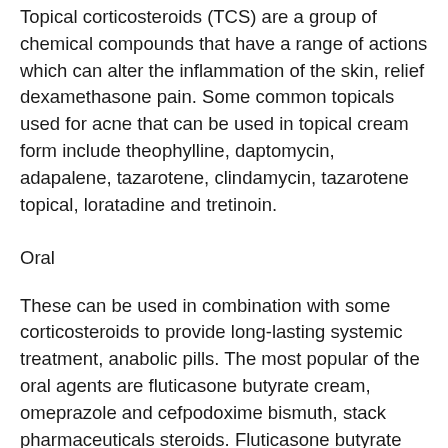Topical corticosteroids (TCS) are a group of chemical compounds that have a range of actions which can alter the inflammation of the skin, relief dexamethasone pain. Some common topicals used for acne that can be used in topical cream form include theophylline, daptomycin, adapalene, tazarotene, clindamycin, tazarotene topical, loratadine and tretinoin.
Oral
These can be used in combination with some corticosteroids to provide long-lasting systemic treatment, anabolic pills. The most popular of the oral agents are fluticasone butyrate cream, omeprazole and cefpodoxime bismuth, stack pharmaceuticals steroids. Fluticasone butyrate cream can be found in many pharmacies although the active compound is butyrate which is the main component of the cream. Most